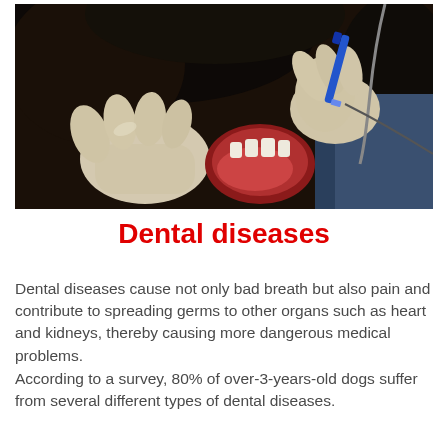[Figure (photo): Veterinarian in white latex gloves performing a dental procedure on a dog, holding a blue dental instrument near the dog's open mouth. The dog has dark/black fur. The scene appears to be in a veterinary clinic.]
Dental diseases
Dental diseases cause not only bad breath but also pain and contribute to spreading germs to other organs such as heart and kidneys, thereby causing more dangerous medical problems.
According to a survey, 80% of over-3-years-old dogs suffer from several different types of dental diseases.
Therefore, understanding common dental